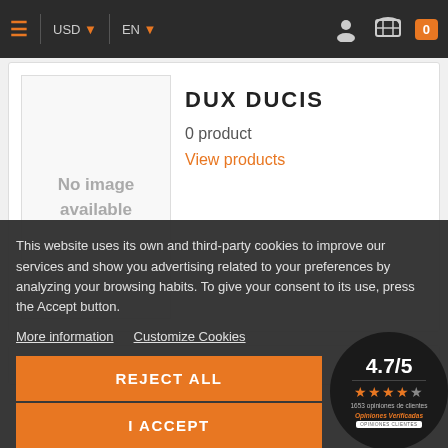USD ▾  EN ▾  [user icon] [cart icon] 0
[Figure (screenshot): Product listing card showing 'No image available' placeholder on the left, and brand name DUX DUCIS with '0 product' and 'View products' link on the right]
DUX DUCIS
0 product
View products
This website uses its own and third-party cookies to improve our services and show you advertising related to your preferences by analyzing your browsing habits. To give your consent to its use, press the Accept button.
More information   Customize Cookies
REJECT ALL
I ACCEPT
[Figure (infographic): Rating badge showing 4.7/5 with 4 orange stars and '1653 opiniones de clientes' and 'Opiniones Verificadas' and 'OPINIONES CLIENTES' label on a dark circular badge]